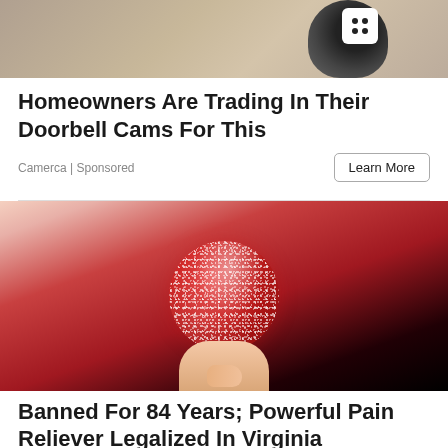[Figure (photo): Top portion of an advertisement image showing a security camera against a stone wall background]
Homeowners Are Trading In Their Doorbell Cams For This
Camerca | Sponsored
Learn More
[Figure (photo): A hand holding a round red sugar-coated gummy candy against a dark background]
Banned For 84 Years; Powerful Pain Reliever Legalized In Virginia